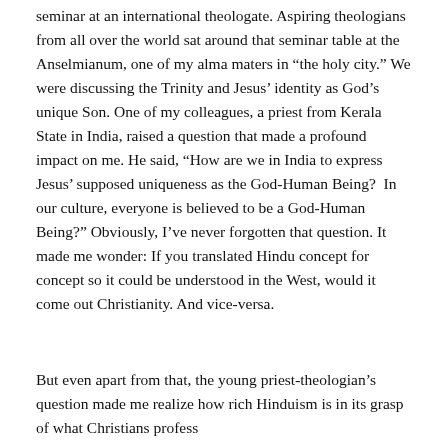seminar at an international theologate. Aspiring theologians from all over the world sat around that seminar table at the Anselmianum, one of my alma maters in “the holy city.” We were discussing the Trinity and Jesus’ identity as God’s unique Son. One of my colleagues, a priest from Kerala State in India, raised a question that made a profound impact on me. He said, “How are we in India to express Jesus’ supposed uniqueness as the God-Human Being?  In our culture, everyone is believed to be a God-Human Being?” Obviously, I’ve never forgotten that question. It made me wonder: If you translated Hindu concept for concept so it could be understood in the West, would it come out Christianity. And vice-versa.
But even apart from that, the young priest-theologian’s question made me realize how rich Hinduism is in its grasp of what Christians profess